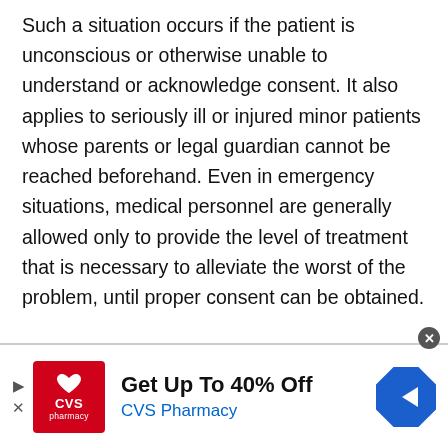Such a situation occurs if the patient is unconscious or otherwise unable to understand or acknowledge consent. It also applies to seriously ill or injured minor patients whose parents or legal guardian cannot be reached beforehand. Even in emergency situations, medical personnel are generally allowed only to provide the level of treatment that is necessary to alleviate the worst of the problem, until proper consent can be obtained.
[Figure (other): CVS Pharmacy advertisement banner: red CVS pharmacy logo on left, text 'Get Up To 40% Off / CVS Pharmacy' in center, blue diamond navigation icon on right, with close (X) button and left navigation arrows.]